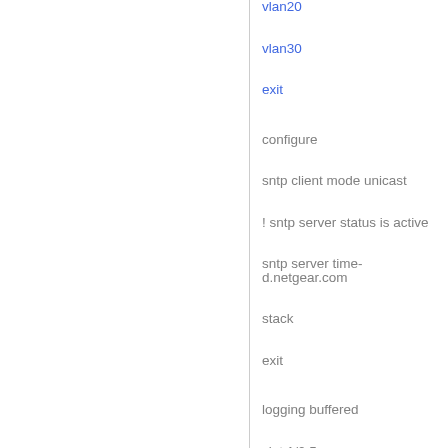vlan20
vlan30
exit
configure
sntp client mode unicast
! sntp server status is active
sntp server time-d.netgear.com
stack
exit
logging buffered
slot 1/0 5
set slot power 1/0